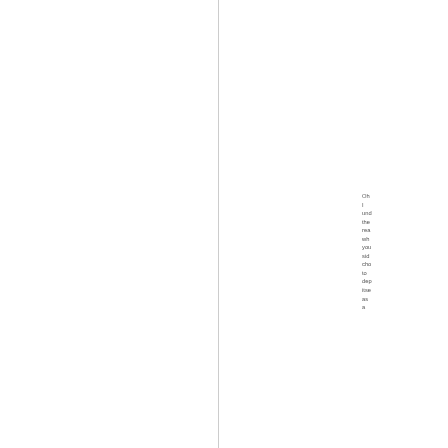Oh I und the rea wh you sid cho to dep itse as a